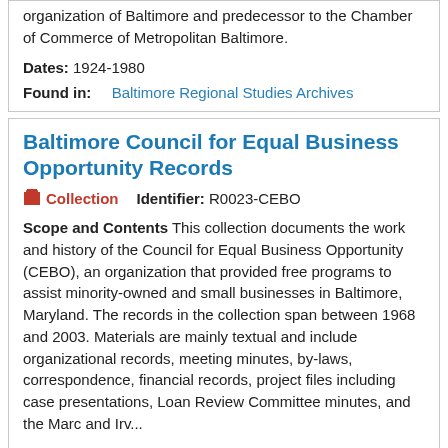organization of Baltimore and predecessor to the Chamber of Commerce of Metropolitan Baltimore.
Dates: 1924-1980
Found in: Baltimore Regional Studies Archives
Baltimore Council for Equal Business Opportunity Records
Collection   Identifier: R0023-CEBO
Scope and Contents This collection documents the work and history of the Council for Equal Business Opportunity (CEBO), an organization that provided free programs to assist minority-owned and small businesses in Baltimore, Maryland. The records in the collection span between 1968 and 2003. Materials are mainly textual and include organizational records, meeting minutes, by-laws, correspondence, financial records, project files including case presentations, Loan Review Committee minutes, and the Marc and Irv...
Dates: 1968-2003